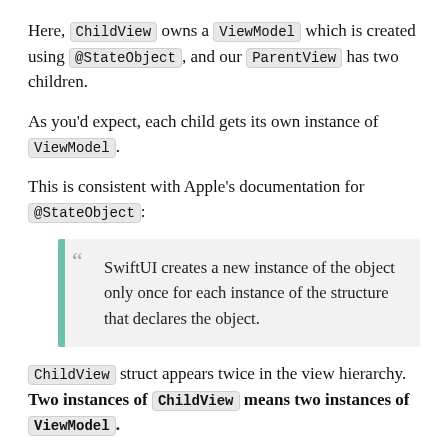Here, ChildView owns a ViewModel which is created using @StateObject, and our ParentView has two children.
As you'd expect, each child gets its own instance of ViewModel.
This is consistent with Apple's documentation for @StateObject:
SwiftUI creates a new instance of the object only once for each instance of the structure that declares the object.
ChildView struct appears twice in the view hierarchy. Two instances of ChildView means two instances of ViewModel.
But what if we create multiple ChildView views in a